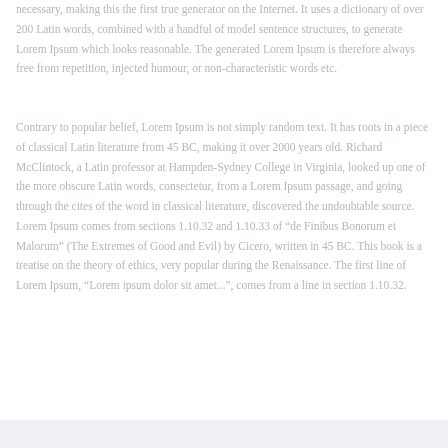necessary, making this the first true generator on the Internet. It uses a dictionary of over 200 Latin words, combined with a handful of model sentence structures, to generate Lorem Ipsum which looks reasonable. The generated Lorem Ipsum is therefore always free from repetition, injected humour, or non-characteristic words etc.
Contrary to popular belief, Lorem Ipsum is not simply random text. It has roots in a piece of classical Latin literature from 45 BC, making it over 2000 years old. Richard McClintock, a Latin professor at Hampden-Sydney College in Virginia, looked up one of the more obscure Latin words, consectetur, from a Lorem Ipsum passage, and going through the cites of the word in classical literature, discovered the undoubtable source. Lorem Ipsum comes from sections 1.10.32 and 1.10.33 of "de Finibus Bonorum et Malorum" (The Extremes of Good and Evil) by Cicero, written in 45 BC. This book is a treatise on the theory of ethics, very popular during the Renaissance. The first line of Lorem Ipsum, "Lorem ipsum dolor sit amet...", comes from a line in section 1.10.32.